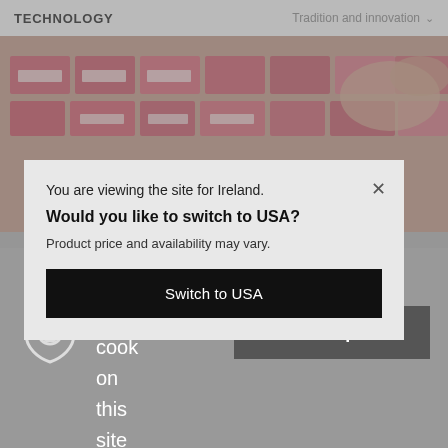TECHNOLOGY    Tradition and innovation ∨
[Figure (photo): Blurred photo of pink/red labeled product filing cards or packages on shelves with a hand visible in background]
You are viewing the site for Ireland.
Would you like to switch to USA?
Product price and availability may vary.
Switch to USA
We use cook on this site
Accept